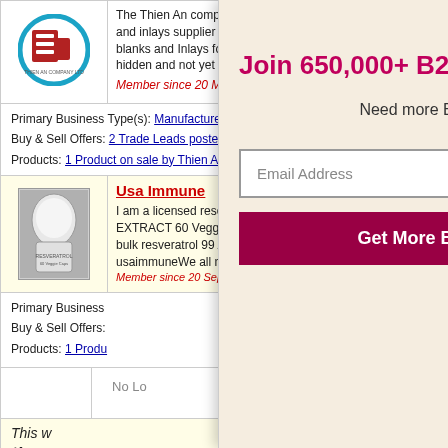[Figure (logo): Thien An Company Ltd circular logo with stylized 'A' letter mark in red and blue]
The Thien An company was established in 1995 as the blanks and inlays supplier in Vietnam. Although we worked in blanks and Inlays for more than two generations in Vietnam, hidden and not yet widespread. We bega...
Member since 20 March, 2009, US - California
Primary Business Type(s): Manufacturer
Buy & Sell Offers: 2 Trade Leads posted by Thien An Company
Products: 1 Product on sale by Thien An Company
Usa Immune
I am a licensed reseller tax I.D. ****** I SELL RESERVATROL EXTRACT 60 Veggie Caps 250 mg 38.00 free USA in bulk resveratrol 99 Acetylated Water soluble 1-50 kilo usaimmuneWe all need to do our part as one and ke.
Member since 20 September, 2009, US - Michigan
Primary Business Type(s):
Buy & Sell Offers:
Products: 1 Produ
No Lo
This w
the
Primary Busi
Buy & Sell Offers:
Products: 0 - No C
Join 650,000+ B2B Members
Need more B2B Sales?
Email Address
Get More B2B Sales